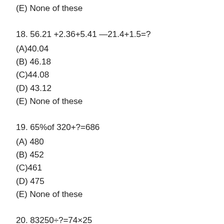(E) None of these
18. 56.21 +2.36+5.41 —21.4+1.5=?
(A)40.04
(B) 46.18
(C)44.08
(D) 43.12
(E) None of these
19. 65%of 320+?=686
(A) 480
(B) 452
(C)461
(D) 475
(E) None of these
20. 83250÷?=74×25
(A)50